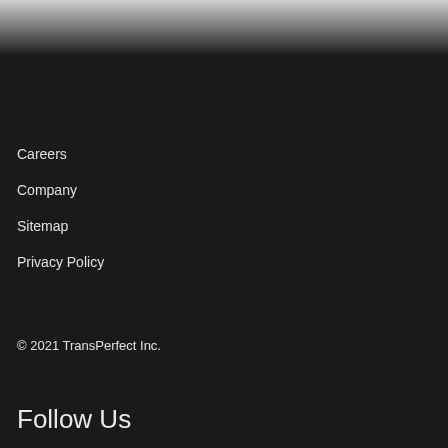Careers
Company
Sitemap
Privacy Policy
© 2021 TransPerfect Inc.
Follow Us